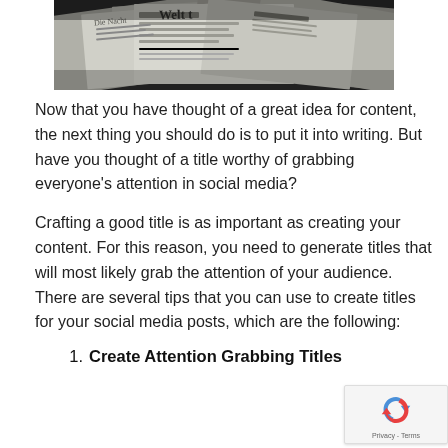[Figure (photo): Stack of newspapers shown from above at an angle in a dark grayscale tone, with German newspaper mastheads visible including 'Die Welt']
Now that you have thought of a great idea for content, the next thing you should do is to put it into writing. But have you thought of a title worthy of grabbing everyone's attention in social media?
Crafting a good title is as important as creating your content. For this reason, you need to generate titles that will most likely grab the attention of your audience. There are several tips that you can use to create titles for your social media posts, which are the following:
1. Create Attention Grabbing Titles